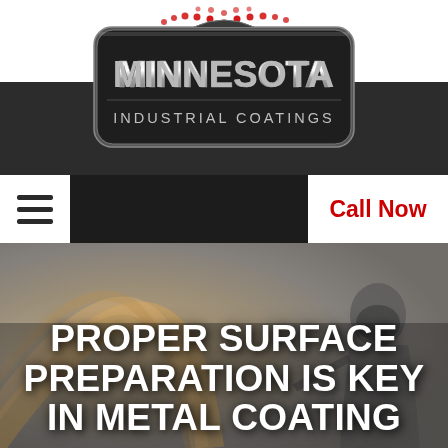[Figure (logo): Minnesota Industrial Coatings logo — dark rounded rectangular badge with metallic silver text reading MINNESOTA in large letters and INDUSTRIAL COATINGS below, with a red dotted arc above]
[Figure (other): Navigation bar with hamburger menu icon on the left (white background) and a Call Now button on the right (white background, red bold text)]
[Figure (photo): Hero image showing industrial coating/spray painting in progress — warm golden arc shape on left, worker with protective mask on right, gray smoky background]
PROPER SURFACE PREPARATION IS KEY IN METAL COATING